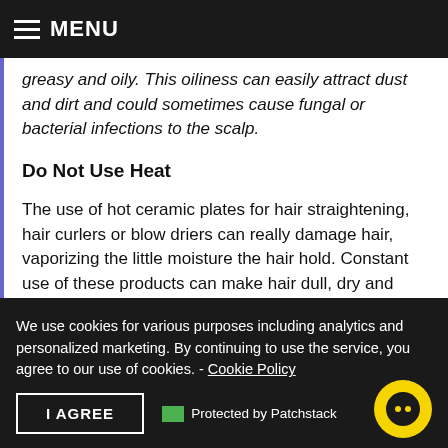MENU
greasy and oily. This oiliness can easily attract dust and dirt and could sometimes cause fungal or bacterial infections to the scalp.
Do Not Use Heat
The use of hot ceramic plates for hair straightening, hair curlers or blow driers can really damage hair, vaporizing the little moisture the hair hold. Constant use of these products can make hair dull, dry and brittle which can cause hair breakage.  Use only when needed or on
We use cookies for various purposes including analytics and personalized marketing. By continuing to use the service, you agree to our use of cookies. - Cookie Policy
I AGREE
Protected by Patchstack